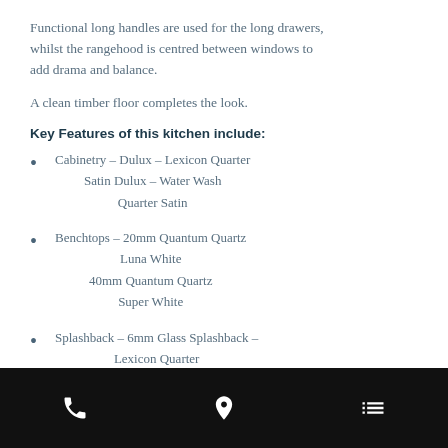Functional long handles are used for the long drawers, whilst the rangehood is centred between windows to add drama and balance.
A clean timber floor completes the look.
Key Features of this kitchen include:
Cabinetry - Dulux - Lexicon Quarter Satin Dulux - Water Wash Quarter Satin
Benchtops - 20mm Quantum Quartz Luna White 40mm Quantum Quartz Super White
Splashback - 6mm Glass Splashback - Lexicon Quarter
Phone | Location | Menu